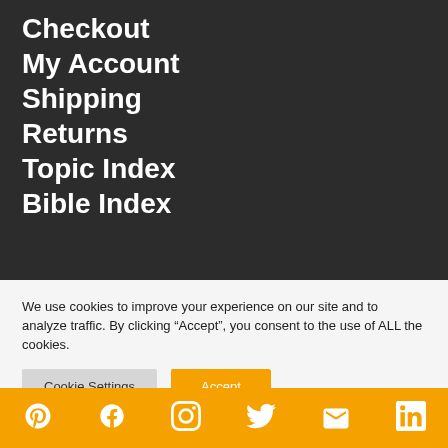Checkout
My Account
Shipping
Returns
Topic Index
Bible Index
We use cookies to improve your experience on our site and to analyze traffic. By clicking “Accept”, you consent to the use of ALL the cookies.
Cookie Settings | Accept
[Figure (other): Footer bar with social media icons: Pinterest, Facebook, Instagram, Twitter, Email, LinkedIn on orange background]